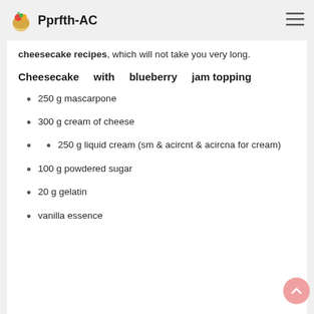Pprfth-AC
cheesecake recipes, which will not take you very long.
Cheesecake with blueberry jam topping
250 g mascarpone
300 g cream of cheese
250 g liquid cream (sm & acircnt & acircna for cream)
100 g powdered sugar
20 g gelatin
vanilla essence